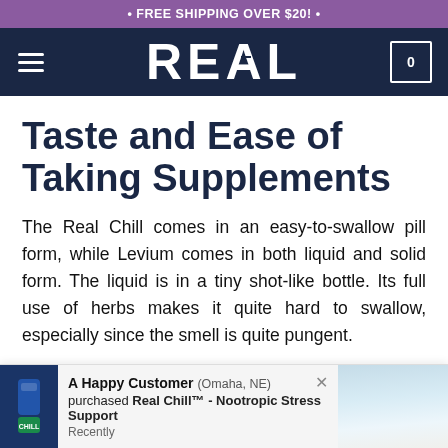• FREE SHIPPING OVER $20! •
[Figure (logo): REAL brand logo in white on dark navy navigation bar with hamburger menu on left and shopping cart icon (0) on right]
Taste and Ease of Taking Supplements
The Real Chill comes in an easy-to-swallow pill form, while Levium comes in both liquid and solid form. The liquid is in a tiny shot-like bottle. Its full use of herbs makes it quite hard to swallow, especially since the smell is quite pungent.
A Happy Customer (Omaha, NE) purchased Real Chill™ - Nootropic Stress Support Recently